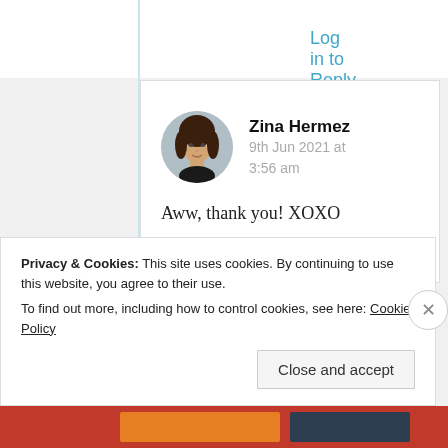Log in to Reply
[Figure (photo): Circular avatar photo of Zina Hermez, a woman with dark hair wearing a dark outfit]
Zina Hermez
9th Jun 2021 at 3:56 am
Aww, thank you! XOXO ❤️💔💙
Privacy & Cookies: This site uses cookies. By continuing to use this website, you agree to their use.
To find out more, including how to control cookies, see here: Cookie Policy
Close and accept